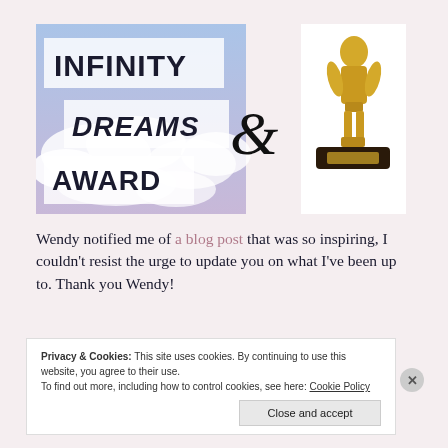[Figure (illustration): Infinity Dreams & Award banner image: left half shows stylized text 'INFINITY DREAMS AWARD' on a cloudy sky background; right half shows a golden Oscar-style trophy statuette on a dark base with a gold plaque, on white background. Large ampersand '&' in cursive links the two halves.]
Wendy notified me of a blog post that was so inspiring, I couldn't resist the urge to update you on what I've been up to. Thank you Wendy!
Privacy & Cookies: This site uses cookies. By continuing to use this website, you agree to their use.
To find out more, including how to control cookies, see here: Cookie Policy
Close and accept